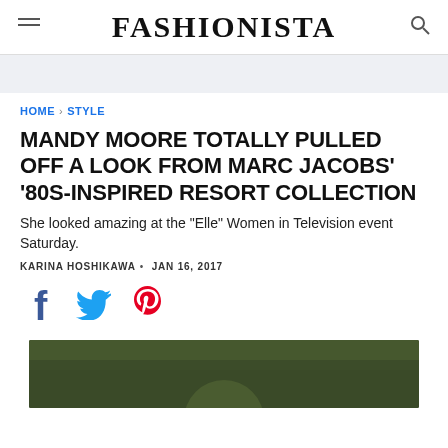FASHIONISTA
HOME > STYLE
MANDY MOORE TOTALLY PULLED OFF A LOOK FROM MARC JACOBS' '80S-INSPIRED RESORT COLLECTION
She looked amazing at the "Elle" Women in Television event Saturday.
KARINA HOSHIKAWA • JAN 16, 2017
[Figure (other): Social media share icons: Facebook (blue), Twitter (blue), Pinterest (red)]
[Figure (photo): Photo of Mandy Moore at an event, partially visible at bottom of page, dark green foliage background]